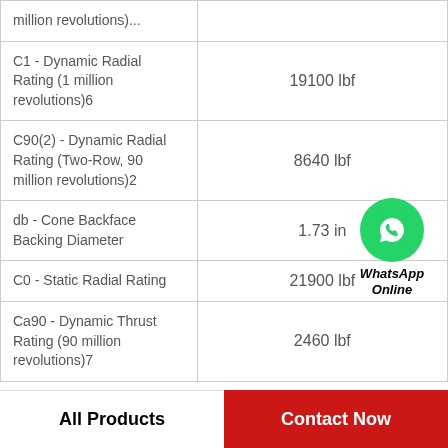| Property | Value |
| --- | --- |
| million revolutions)... |  |
| C1 - Dynamic Radial Rating (1 million revolutions)6 | 19100 lbf |
| C90(2) - Dynamic Radial Rating (Two-Row, 90 million revolutions)2 | 8640 lbf |
| db - Cone Backface Backing Diameter | 1.73 in |
| C0 - Static Radial Rating | 21900 lbf |
| Ca90 - Dynamic Thrust Rating (90 million revolutions)7 | 2460 lbf |
[Figure (logo): WhatsApp Online button with green phone icon]
All Products    Contact Now